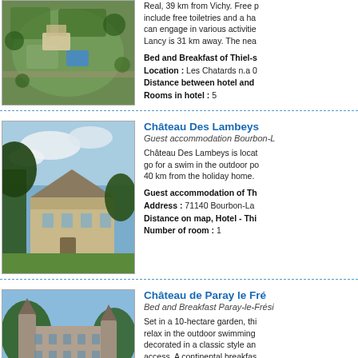[Figure (photo): Aerial view of a property with pool surrounded by trees and garden]
Real, 39 km from Vichy. Free provisions include free toiletries and a hairdryer. Guests can engage in various activities. Lancy is 31 km away. The nea
Bed and Breakfast of Thiel-s
Location : Les Chatards n.a 0
Distance between hotel and
Rooms in hotel : 5
[Figure (photo): Château Des Lambeys exterior photo showing a grand stone building with trees]
Château Des Lambeys
Guest accommodation Bourbon-L
Château Des Lambeys is located... go for a swim in the outdoor po... 40 km from the holiday home.
Guest accommodation of Th
Address : 71140 Bourbon-La
Distance on map, Hotel - Thi
Number of room : 1
[Figure (photo): Château de Paray le Fré - a stone castle with turrets and garden]
Château de Paray le Fré
Bed and Breakfast Paray-le-Frési
Set in a 10-hectare garden, this... relax in the outdoor swimming... decorated in a classic style and... access. A continental breakfast... made evening meals, if you re... Other local activities include cy... property.